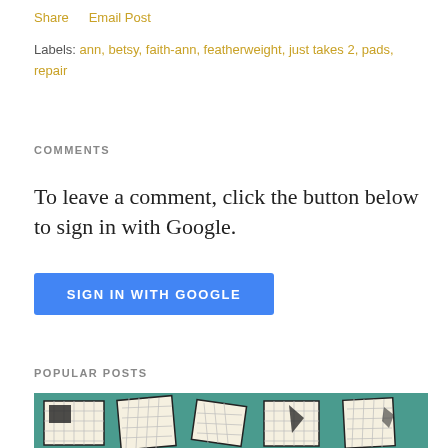Share   Email Post
Labels: ann, betsy, faith-ann, featherweight, just takes 2, pads, repair
COMMENTS
To leave a comment, click the button below to sign in with Google.
[Figure (other): SIGN IN WITH GOOGLE button (blue)]
POPULAR POSTS
[Figure (photo): Photo of quilting/sewing materials on teal fabric background]